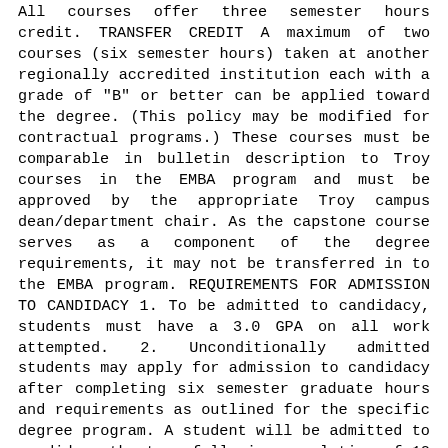All courses offer three semester hours credit. TRANSFER CREDIT A maximum of two courses (six semester hours) taken at another regionally accredited institution each with a grade of "B" or better can be applied toward the degree. (This policy may be modified for contractual programs.) These courses must be comparable in bulletin description to Troy courses in the EMBA program and must be approved by the appropriate Troy campus dean/department chair. As the capstone course serves as a component of the degree requirements, it may not be transferred in to the EMBA program. REQUIREMENTS FOR ADMISSION TO CANDIDACY 1. To be admitted to candidacy, students must have a 3.0 GPA on all work attempted. 2. Unconditionally admitted students may apply for admission to candidacy after completing six semester graduate hours and requirements as outlined for the specific degree program. A student will be admitted to candidacy the term following completion of 12 semester hours. DEGREE REQUIREMENTS Successful completion of the courses listed below with an overall grade point average of 3.0 (A=4.0) is necessary to fulfill requirements for the degree. The student can fulfill the research component requirement by successfully completing EMBA